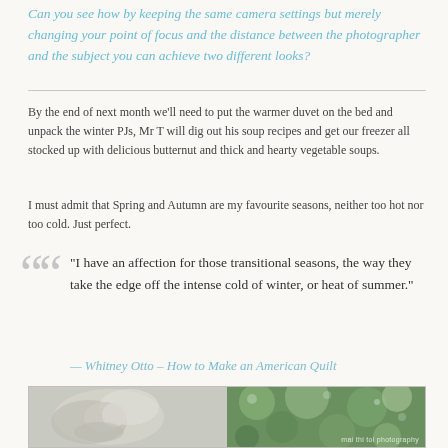Can you see how by keeping the same camera settings but merely changing your point of focus and the distance between the photographer and the subject you can achieve two different looks?
By the end of next month we'll need to put the warmer duvet on the bed and unpack the winter PJs, Mr T will dig out his soup recipes and get our freezer all stocked up with delicious butternut and thick and hearty vegetable soups.
I must admit that Spring and Autumn are my favourite seasons, neither too hot nor too cold. Just perfect.
“I have an affection for those transitional seasons, the way they take the edge off the intense cold of winter, or heat of summer.”
— Whitney Otto – How to Make an American Quilt
[Figure (photo): Two side-by-side photographs: left shows a flower/petal in muted tones; right shows bokeh green foliage with watermark 'mai thi toi photography']